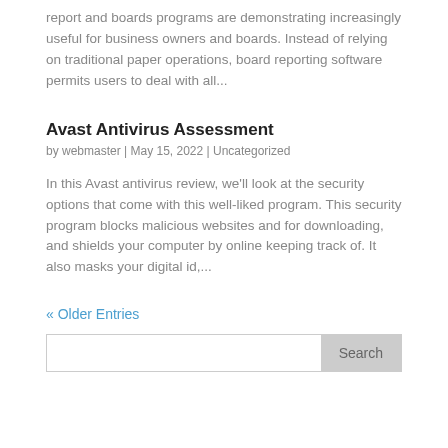report and boards programs are demonstrating increasingly useful for business owners and boards. Instead of relying on traditional paper operations, board reporting software permits users to deal with all...
Avast Antivirus Assessment
by webmaster | May 15, 2022 | Uncategorized
In this Avast antivirus review, we'll look at the security options that come with this well-liked program. This security program blocks malicious websites and for downloading, and shields your computer by online keeping track of. It also masks your digital id,...
« Older Entries